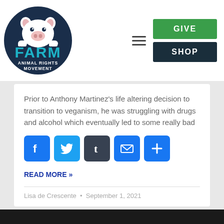[Figure (logo): FARM Animal Rights Movement logo — dark navy circle with white pig illustration and teal FARM text]
[Figure (infographic): Navigation buttons: hamburger menu icon, green GIVE button, dark navy SHOP button]
Prior to Anthony Martinez’s life altering decision to transition to veganism, he was struggling with drugs and alcohol which eventually led to some really bad
[Figure (infographic): Social share icons: Facebook, Twitter, Tumblr, Email, More (+)]
READ MORE »
Lisa de Crescente • September 1, 2021